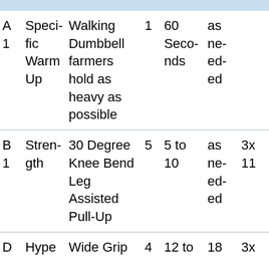| A
1 | Specific Warm Up | Walking Dumbbell farmers hold as heavy as possible | 1 | 60 Seconds | as needed |  |
| B
1 | Strength | 30 Degree Knee Bend Leg Assisted Pull-Up | 5 | 5 to 10 | as needed | 3x 11 |
| D | Hype | Wide Grip | 4 | 12 to | 18 | 3x |